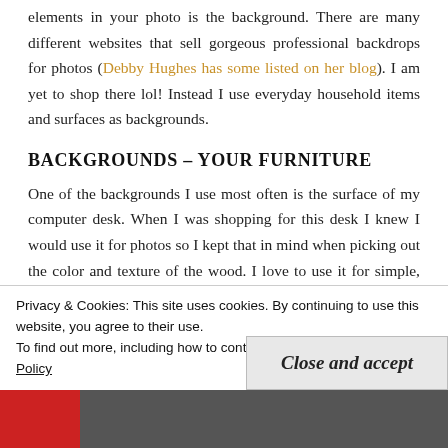elements in your photo is the background. There are many different websites that sell gorgeous professional backdrops for photos (Debby Hughes has some listed on her blog). I am yet to shop there lol! Instead I use everyday household items and surfaces as backgrounds.
BACKGROUNDS – YOUR FURNITURE
One of the backgrounds I use most often is the surface of my computer desk. When I was shopping for this desk I knew I would use it for photos so I kept that in mind when picking out the color and texture of the wood. I love to use it for simple, almost one-layer light projects. The dark color
Privacy & Cookies: This site uses cookies. By continuing to use this website, you agree to their use.
To find out more, including how to control cookies, see here: Cookie Policy
Close and accept